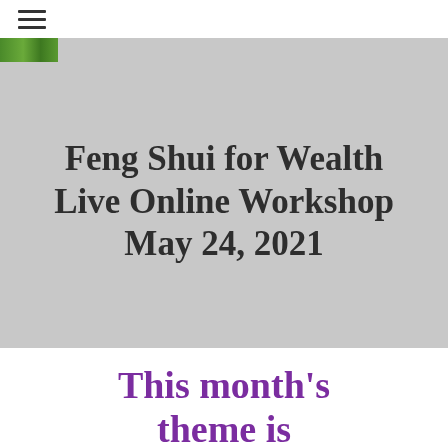≡
[Figure (photo): Gray banner background with bamboo strip in top-left corner]
Feng Shui for Wealth Live Online Workshop May 24, 2021
This month's theme is WEALTH$$